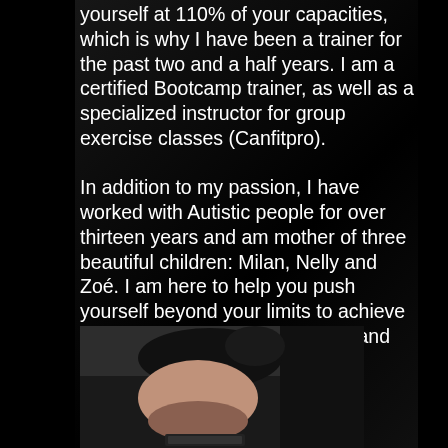yourself at 110% of your capacities, which is why I have been a trainer for the past two and a half years. I am a certified Bootcamp trainer, as well as a specialized instructor for group exercise classes (Canfitpro).

In addition to my passion, I have worked with Autistic people for over thirteen years and am mother of three beautiful children: Milan, Nelly and Zoé. I am here to help you push yourself beyond your limits to achieve your personal goals, work hard, and have fun while doing so!
[Figure (photo): A close-up photograph of a person's head from above, showing dark hair pulled up, taken from a top-down angle. The image is cropped showing mostly the top of the head and partial face, with a dark object (device) at the bottom of the frame.]